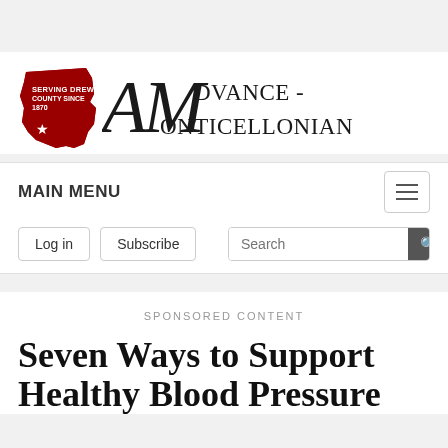[Figure (logo): Advance-Monticellonian newspaper logo with Arkansas state shape in red and cursive A-M letters with DVANCE-MONTICELLONIAN text]
MAIN MENU
Log in   Subscribe   Search
SPONSORED CONTENT
Seven Ways to Support Healthy Blood Pressure